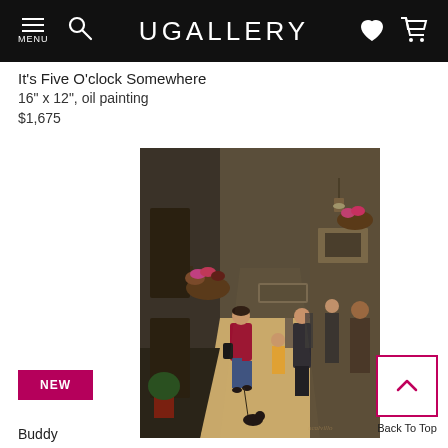UGALLERY
It's Five O'clock Somewhere
16" x 12", oil painting
$1,675
[Figure (photo): Oil painting of a sunlit European alleyway with figures walking, flower baskets hanging from walls, a woman in red walking a small black dog in the foreground, and other pedestrians in the background.]
NEW
Buddy
Back To Top